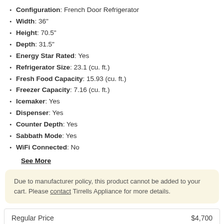Configuration: French Door Refrigerator
Width: 36"
Height: 70.5"
Depth: 31.5"
Energy Star Rated: Yes
Refrigerator Size: 23.1 (cu. ft.)
Fresh Food Capacity: 15.93 (cu. ft.)
Freezer Capacity: 7.16 (cu. ft.)
Icemaker: Yes
Dispenser: Yes
Counter Depth: Yes
Sabbath Mode: Yes
WiFi Connected: No
See More
Due to manufacturer policy, this product cannot be added to your cart. Please contact Tirrells Appliance for more details.
Regular Price $4,700
Call for Our Best Price
Rebate Available